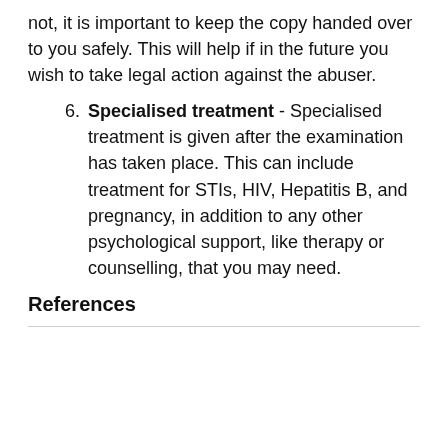not, it is important to keep the copy handed over to you safely. This will help if in the future you wish to take legal action against the abuser.
6. Specialised treatment - Specialised treatment is given after the examination has taken place. This can include treatment for STIs, HIV, Hepatitis B, and pregnancy, in addition to any other psychological support, like therapy or counselling, that you may need.
References